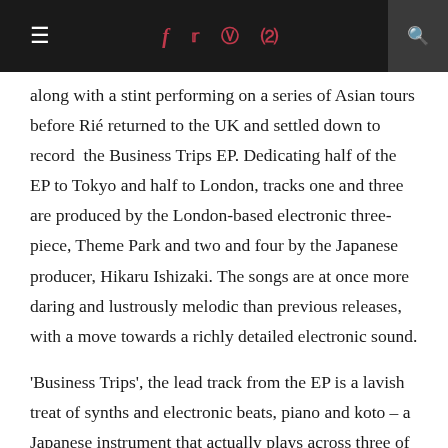≡  f  ✦  ⊡  ℗  🔍
along with a stint performing on a series of Asian tours before Rié returned to the UK and settled down to record  the Business Trips EP. Dedicating half of the EP to Tokyo and half to London, tracks one and three are produced by the London-based electronic three-piece, Theme Park and two and four by the Japanese producer, Hikaru Ishizaki. The songs are at once more daring and lustrously melodic than previous releases, with a move towards a richly detailed electronic sound.

'Business Trips', the lead track from the EP is a lavish treat of synths and electronic beats, piano and koto – a Japanese instrument that actually plays across three of the four tracks.